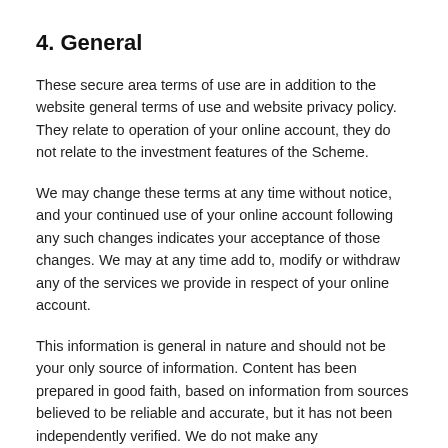4. General
These secure area terms of use are in addition to the website general terms of use and website privacy policy. They relate to operation of your online account, they do not relate to the investment features of the Scheme.
We may change these terms at any time without notice, and your continued use of your online account following any such changes indicates your acceptance of those changes. We may at any time add to, modify or withdraw any of the services we provide in respect of your online account.
This information is general in nature and should not be your only source of information. Content has been prepared in good faith, based on information from sources believed to be reliable and accurate, but it has not been independently verified. We do not make any representation or warranty (express or implied) that the information is accurate, complete or current. We exclude and disclaim (to the maximum extent permitted by law) any liability for loss